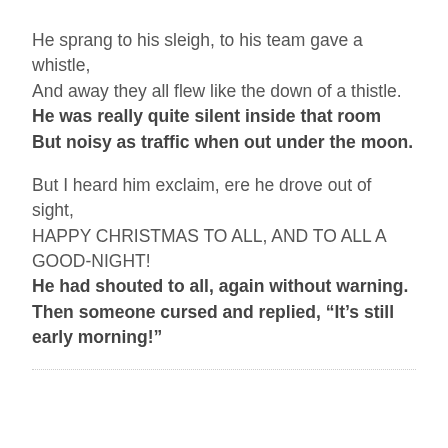He sprang to his sleigh, to his team gave a whistle,
And away they all flew like the down of a thistle.
He was really quite silent inside that room
But noisy as traffic when out under the moon.

But I heard him exclaim, ere he drove out of sight,
HAPPY CHRISTMAS TO ALL, AND TO ALL A GOOD-NIGHT!
He had shouted to all, again without warning.
Then someone cursed and replied, “It’s still early morning!”